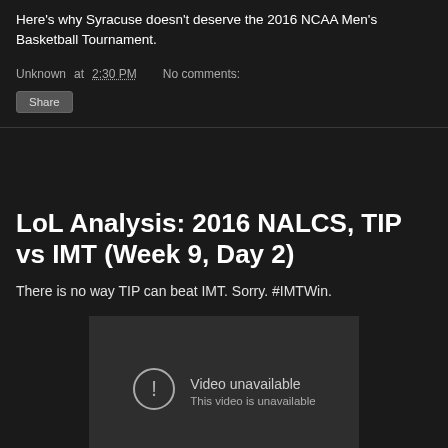Here's why Syracuse doesn't deserve the 2016 NCAA Men's Basketball Tournament.
Unknown at 2:30 PM   No comments:
Share
LoL Analysis: 2016 NALCS, TIP vs IMT (Week 9, Day 2)
There is no way TIP can beat IMT. Sorry. #IMTWin.
[Figure (screenshot): Embedded video player showing 'Video unavailable. This video is unavailable.' error message with an exclamation mark icon on a dark grey background.]